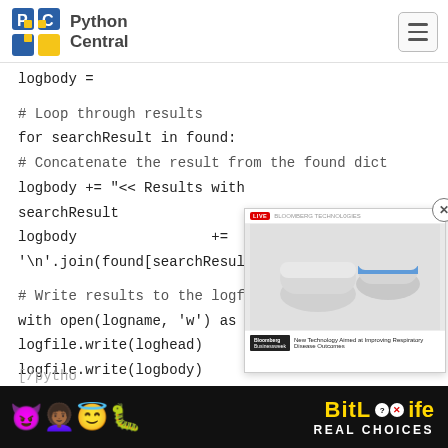Python Central
logbody =
# Loop through results
for searchResult in found:
# Concatenate the result from the found dict
logbody += "<< Results with searchResult
logbody += '\n'.join(found[searchResult])
# Write results to the logfile
with open(logname, 'w') as logfile:
    logfile.write(loghead)
    logfile.write(logbody)
[Figure (screenshot): Advertisement popup showing a medical device (inhaler/nebulizer) with a Bloomberg Businessweek branding and text 'New Technology Aimed at Improving Respiratory Disease Outcomes'. Has a close (X) button and a LIVE badge.]
[Figure (screenshot): Bottom banner advertisement for BitLife game with colorful emojis (devil, person with arms raised, angel, worm) and text 'BitLife REAL CHOICES' on dark background.]
[/pytho